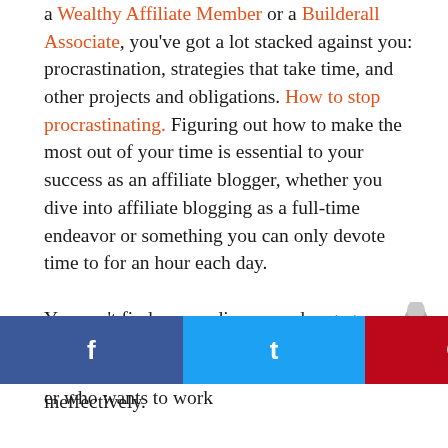a Wealthy Affiliate Member or a Builderall Associate, you've got a lot stacked against you: procrastination, strategies that take time, and other projects and obligations. How to stop procrastinating. Figuring out how to make the most out of your time is essential to your success as an affiliate blogger, whether you dive into affiliate blogging as a full-time endeavor or something you can only devote time to for an hour each day.

You can't find new audiences and engage your readers actively if you're constantly caught up in managing redundant processes—and doing it ineffectively.
[Figure (illustration): Rocket/launch icon in grey, positioned at the right side of the page]
er who wants to work